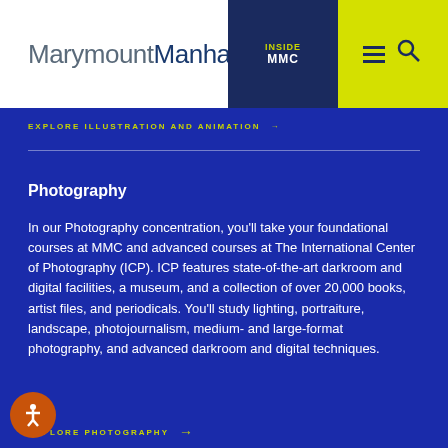MarymountManhattan — INSIDE MMC
EXPLORE ILLUSTRATION AND ANIMATION →
Photography
In our Photography concentration, you'll take your foundational courses at MMC and advanced courses at The International Center of Photography (ICP). ICP features state-of-the-art darkroom and digital facilities, a museum, and a collection of over 20,000 books, artist files, and periodicals. You'll study lighting, portraiture, landscape, photojournalism, medium- and large-format photography, and advanced darkroom and digital techniques.
EXPLORE PHOTOGRAPHY →